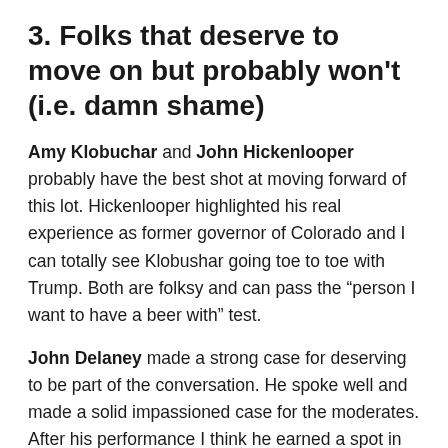3. Folks that deserve to move on but probably won't (i.e. damn shame)
Amy Klobuchar and John Hickenlooper probably have the best shot at moving forward of this lot. Hickenlooper highlighted his real experience as former governor of Colorado and I can totally see Klobushar going toe to toe with Trump. Both are folksy and can pass the “person I want to have a beer with” test.
John Delaney made a strong case for deserving to be part of the conversation. He spoke well and made a solid impassioned case for the moderates. After his performance I think he earned a spot in the next debate.